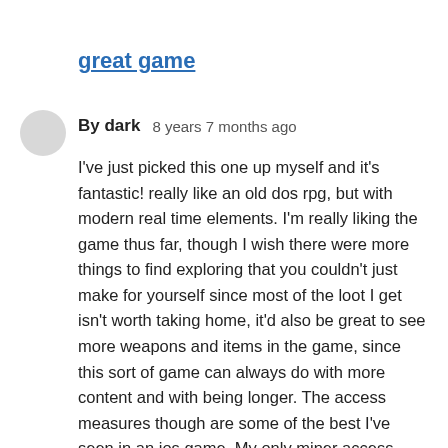great game
By dark   8 years 7 months ago
I've just picked this one up myself and it's fantastic! really like an old dos rpg, but with modern real time elements. I'm really liking the game thus far, though I wish there were more things to find exploring that you couldn't just make for yourself since most of the loot I get isn't worth taking home, it'd also be great to see more weapons and items in the game, since this sort of game can always do with more content and with being longer. The access measures though are some of the best I've seen in an ios game. My only miner access point is that when